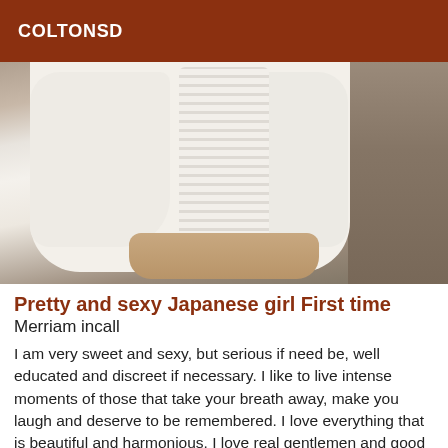COLTONSD
[Figure (photo): Photo of a person wearing a white ribbed knit sweater, seated near a brown/grey couch or cushion, hands visible at bottom of frame.]
Pretty and sexy Japanese girl First time
Merriam incall
I am very sweet and sexy, but serious if need be, well educated and discreet if necessary. I like to live intense moments of those that take your breath away, make you laugh and deserve to be remembered. I love everything that is beautiful and harmonious. I love real gentlemen and good conversation. I put passion in everything I do. You can come and check it out for yourself ;-) I love what I do and I do it well...